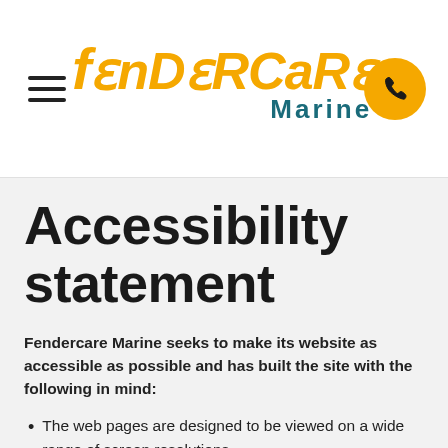[Figure (logo): Fendercare Marine logo with hamburger menu icon on left and phone button on right]
Accessibility statement
Fendercare Marine seeks to make its website as accessible as possible and has built the site with the following in mind:
The web pages are designed to be viewed on a wide range of screen resolutions.